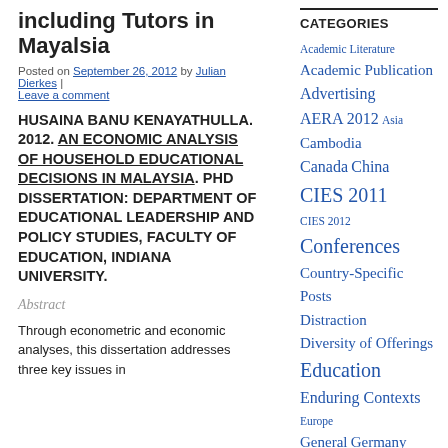including Tutors in Mayalsia
Posted on September 26, 2012 by Julian Dierkes | Leave a comment
HUSAINA BANU KENAYATHULLA. 2012. AN ECONOMIC ANALYSIS OF HOUSEHOLD EDUCATIONAL DECISIONS IN MALAYSIA. PHD DISSERTATION: DEPARTMENT OF EDUCATIONAL LEADERSHIP AND POLICY STUDIES, FACULTY OF EDUCATION, INDIANA UNIVERSITY.
Abstract
Through econometric and economic analyses, this dissertation addresses three key issues in
CATEGORIES
Academic Literature
Academic Publication
Advertising
AERA 2012
Asia
Cambodia
Canada
China
CIES 2011
CIES 2012
Conferences
Country-Specific Posts
Distraction
Diversity of Offerings
Education
Enduring Contexts
Europe
General
Germany